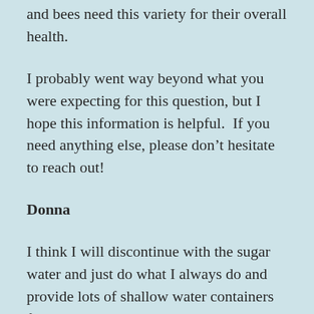and bees need this variety for their overall health.
I probably went way beyond what you were expecting for this question, but I hope this information is helpful.  If you need anything else, please don't hesitate to reach out!
Donna
I think I will discontinue with the sugar water and just do what I always do and provide lots of shallow water containers for them.
In the near future I hope we can meet again and share more knowledge about our pollinator friends with our chapter and the